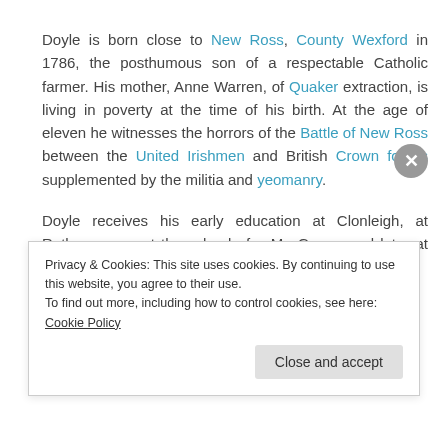Doyle is born close to New Ross, County Wexford in 1786, the posthumous son of a respectable Catholic farmer. His mother, Anne Warren, of Quaker extraction, is living in poverty at the time of his birth. At the age of eleven he witnesses the horrors of the Battle of New Ross between the United Irishmen and British Crown forces supplemented by the militia and yeomanry.
Doyle receives his early education at Clonleigh, at Rathconrogue at the school of a Mr. Grace, and later at the Augustinian College, New Ross under the care of an Augustinian monk, Rev. John Crane.
Privacy & Cookies: This site uses cookies. By continuing to use this website, you agree to their use.
To find out more, including how to control cookies, see here: Cookie Policy